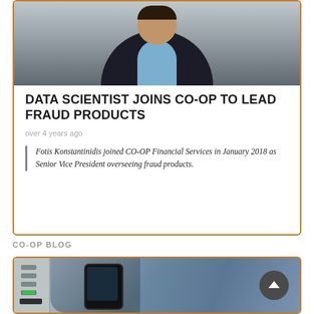[Figure (photo): Portrait photo of a man in a dark suit and light blue shirt, against a grey background]
DATA SCIENTIST JOINS CO-OP TO LEAD FRAUD PRODUCTS
over 4 years ago
Fotis Konstantinidis joined CO-OP Financial Services in January 2018 as Senior Vice President overseeing fraud products.
CO-OP BLOG
[Figure (photo): Person holding a smartphone at an ATM machine, wearing a blue denim jacket]